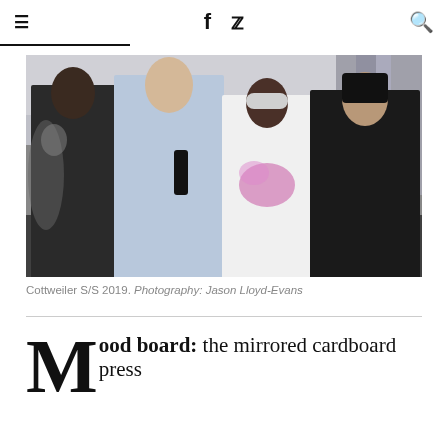≡  f  🐦  🔍
[Figure (photo): Four male models standing together backstage at Cottweiler S/S 2019 fashion show. From left: model in dark patterned robe with belt bag; model in light blue hoodie jacket with black water bottle accessory and light pink shorts; model in white sleeveless top with pink splatter print and light pink shorts with cap; model in black cropped turtleneck with black skirt.]
Cottweiler S/S 2019. Photography: Jason Lloyd-Evans
Mood board: the mirrored cardboard press